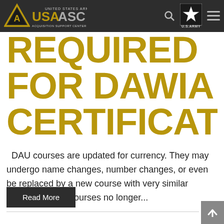USAASC United States Army Acquisition Support Center
REQUIRED FOR DAWIA CERTIFICATION
DAU courses are updated for currency. They may undergo name changes, number changes, or even be replaced by a new course with very similar content.  Some courses no longer...
Read More